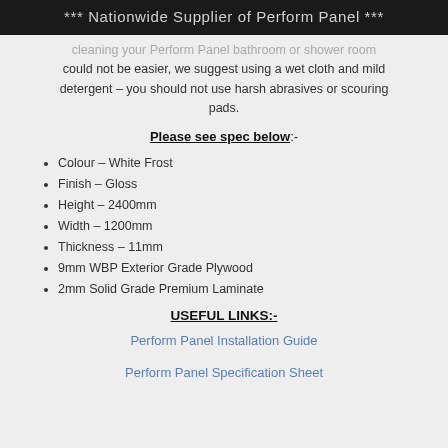*** Nationwide Supplier of Perform Panel ***
cleaning your Perform Panel bathroom or shower room could not be easier, we suggest using a wet cloth and mild detergent – you should not use harsh abrasives or scouring pads.
Please see spec below:-
Colour – White Frost
Finish – Gloss
Height – 2400mm
Width – 1200mm
Thickness – 11mm
9mm WBP Exterior Grade Plywood
2mm Solid Grade Premium Laminate
USEFUL LINKS:-
Perform Panel Installation Guide
Perform Panel Specification Sheet